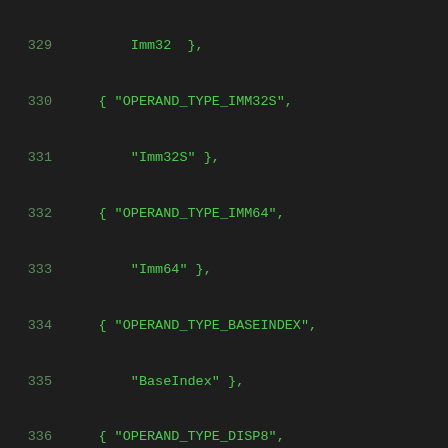329     Imm32  },
330     { "OPERAND_TYPE_IMM32S",
331         "Imm32S" },
332     { "OPERAND_TYPE_IMM64",
333         "Imm64" },
334     { "OPERAND_TYPE_BASEINDEX",
335         "BaseIndex" },
336     { "OPERAND_TYPE_DISP8",
337         "Disp8" },
338     { "OPERAND_TYPE_DISP16",
339         "Disp16" },
340     { "OPERAND_TYPE_DISP32",
341         "Disp32" },
342     { "OPERAND_TYPE_DISP32S",
343         "Disp32S" },
344     { "OPERAND_TYPE_DISP64",
345         "Disp64" },
346     { "OPERAND_TYPE_INOUTPORTREG",
347         "InOutPortReg" },
348     { "OPERAND_TYPE_SHIFTCOUNT",
349         "ShiftCount" },
350     { "OPERAND_TYPE_CONTROL",